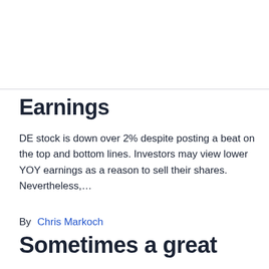Earnings
DE stock is down over 2% despite posting a beat on the top and bottom lines. Investors may view lower YOY earnings as a reason to sell their shares. Nevertheless,…
By  Chris Markoch
This story originally appeared on MarketBeat
Sometimes a great